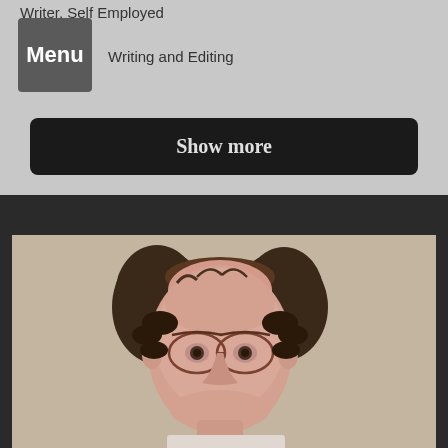Writer, Self Employed
Writing and Editing
Menu
Show more
[Figure (photo): Headshot photo of a middle-aged man with glasses, curly dark hair thinning on top, smiling slightly, wearing a shirt, photographed against a beige/tan background.]